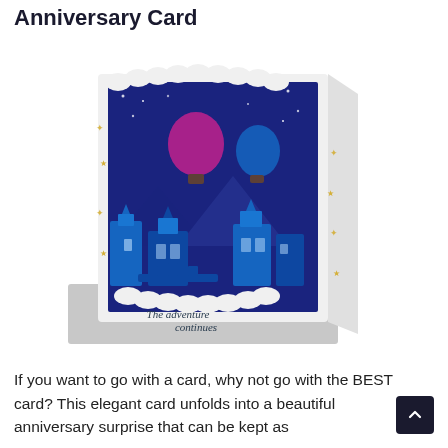Anniversary Card
[Figure (photo): A 3D pop-up anniversary card open and displayed standing up, showing a night-time city/fantasy scene with hot air balloons, blue buildings, clouds, and gold stars. Text on the card reads 'The adventure continues'. A grey envelope is visible behind the card.]
If you want to go with a card, why not go with the BEST card? This elegant card unfolds into a beautiful anniversary surprise that can be kept as